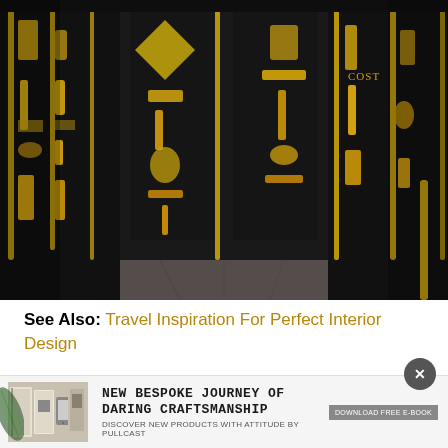[Figure (photo): Interior photo of a luxury walk-in closet or showroom with black panels and gold/brass hardware handles, knobs, and decorative elements displayed on dark walls, with a dark gray carpet floor. The space has a corridor-like perspective with tall black display panels on both sides.]
See Also: Travel Inspiration For Perfect Interior Design
[Figure (infographic): Advertisement banner for Pullcast: 'NEW BESPOKE JOURNEY OF DARING CRAFTSMANSHIP - DISCOVER NEW PRODUCTS WITH ATTITUDE BY PULLCAST' with product images of books/catalogs and a download button. Features a close (X) button in a dark circle.]